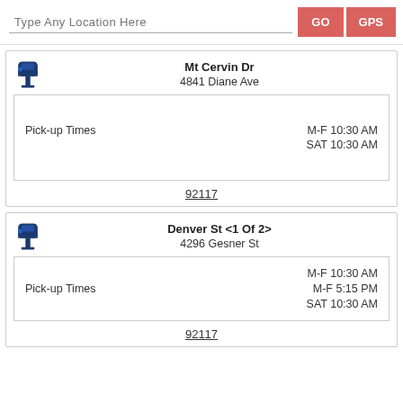[Figure (screenshot): Search bar with placeholder text 'Type Any Location Here' and GO and GPS buttons]
Mt Cervin Dr
4841 Diane Ave
Pick-up Times   M-F 10:30 AM
                SAT 10:30 AM
92117
Denver St <1 Of 2>
4296 Gesner St
Pick-up Times   M-F 10:30 AM
                M-F 5:15 PM
                SAT 10:30 AM
92117